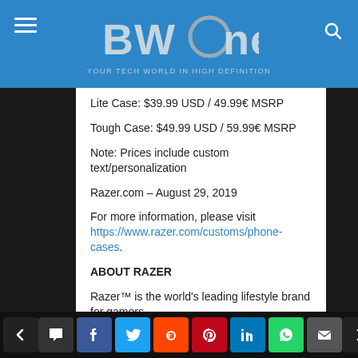BWOne - Your tech world in high definition
Lite Case: $39.99 USD / 49.99€ MSRP
Tough Case: $49.99 USD / 59.99€ MSRP
Note: Prices include custom text/personalization
Razer.com – August 29, 2019
For more information, please visit https://www.razer.com/customs/phone-cases.
ABOUT RAZER
Razer™ is the world's leading lifestyle brand for gamers.